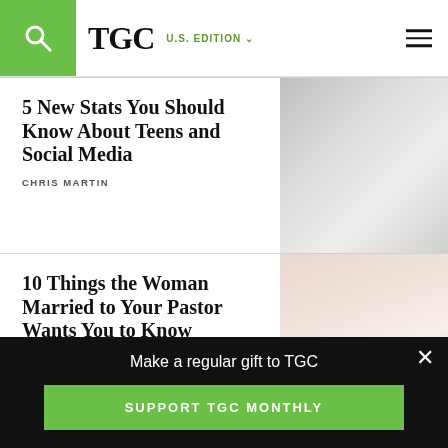TGC U.S. EDITION
5 New Stats You Should Know About Teens and Social Media
CHRIS MARTIN
[Figure (photo): Blurred light-colored background photo thumbnail for teens and social media article]
10 Things the Woman Married to Your Pastor Wants You to Know
[Figure (photo): Light pinkish-beige background photo thumbnail for pastor's wife article]
Make a regular gift to TGC
SUPPORT TGC MONTHLY